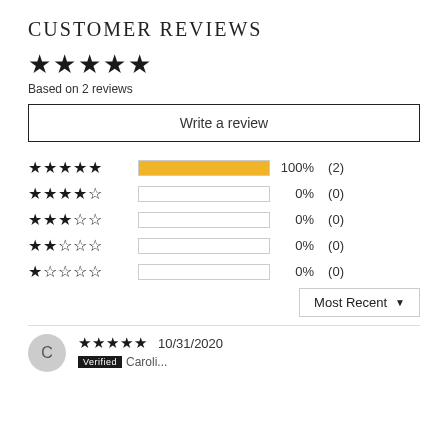CUSTOMER REVIEWS
★★★★★ (4.5 stars display) Based on 2 reviews
Write a review
[Figure (bar-chart): Rating distribution]
Most Recent ▼
C  ★★★★★  10/31/2020  Verified  Caroline...